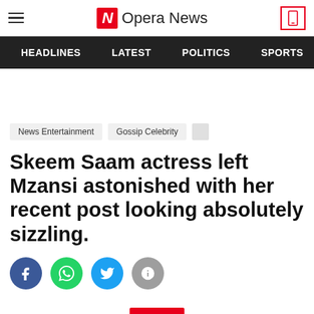Opera News
HEADLINES   LATEST   POLITICS   SPORTS
News Entertainment   Gossip Celebrity
Skeem Saam actress left Mzansi astonished with her recent post looking absolutely sizzling.
[Figure (infographic): Social share buttons: Facebook (blue circle), WhatsApp (green circle), Twitter (light blue circle), Info (grey circle)]
[Figure (infographic): Red scroll-down / expand button with a downward chevron icon]